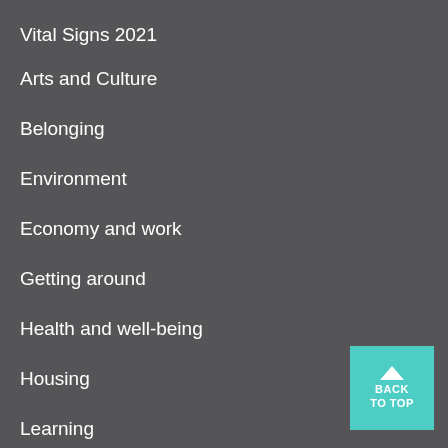Vital Signs 2021
Arts and Culture
Belonging
Environment
Economy and work
Getting around
Health and well-being
Housing
Learning